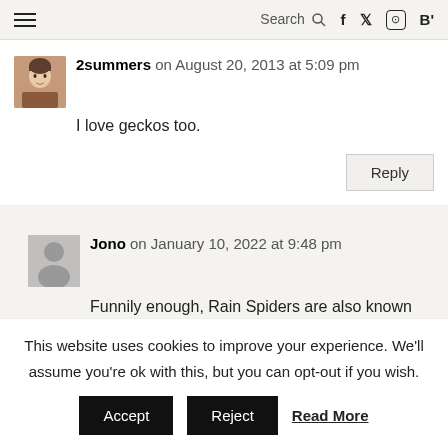≡  Search 🔍  f  𝕏  ⓘ  B'
2summers on August 20, 2013 at 5:09 pm
I love geckos too.
Reply
Jono on January 10, 2022 at 9:48 pm
Funnily enough, Rain Spiders are also known as Lizard-eating spiders...and they will gladly cull your gecko population
This website uses cookies to improve your experience. We'll assume you're ok with this, but you can opt-out if you wish.
Accept  Reject  Read More